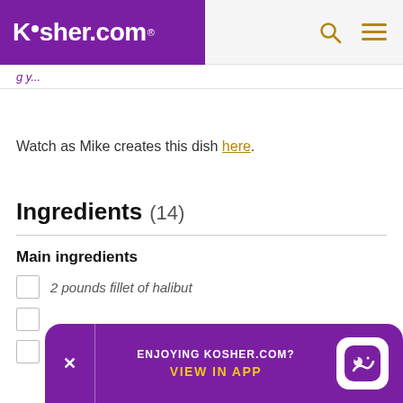Kosher.com
Watch as Mike creates this dish here.
Ingredients (14)
Main ingredients
2 pounds fillet of halibut
[partially visible]
pepper [partially visible]
ENJOYING KOSHER.COM? VIEW IN APP